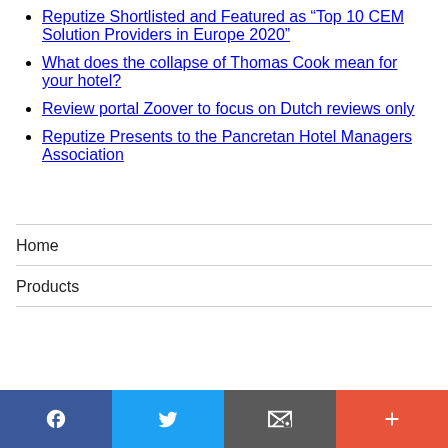Reputize Shortlisted and Featured as “Top 10 CEM Solution Providers in Europe 2020”
What does the collapse of Thomas Cook mean for your hotel?
Review portal Zoover to focus on Dutch reviews only
Reputize Presents to the Pancretan Hotel Managers Association
Home
Products